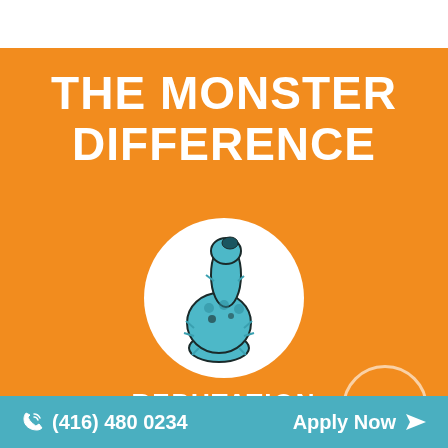THE MONSTER DIFFERENCE
[Figure (illustration): A furry teal/blue monster hand giving a thumbs-up, shown inside a white circle on an orange background]
REPUTATION
With over 25 years experience, a long-running C... show and industry awards under our belt, we're trusted
(416) 480 0234  Apply Now